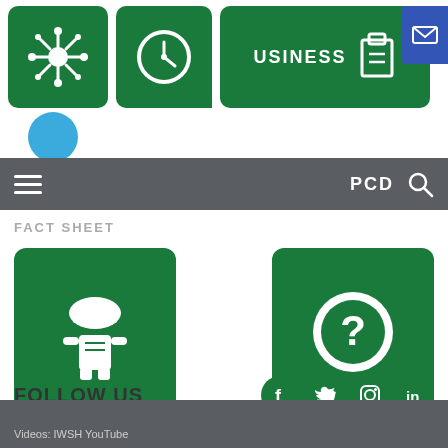[Figure (screenshot): Top navigation bar with green icon boxes (virus/network icon, clock/accessibility icon, business text, truck icon), blue envelope button on right, blue circle logo element below]
[Figure (screenshot): Gray navigation bar with hamburger menu icon on left, PCD text and search magnifier icon on right]
FACT SHEET
[Figure (infographic): Green square card with white worker/hard-hat person icon labeled SPONSORS]
[Figure (infographic): Green square card with white circle containing question mark icon labeled CONTACT US]
SPONSORS
CONTACT US
FOLLOW US
[Figure (infographic): Four green circular social media icons: Facebook, Twitter, Instagram, LinkedIn]
Videos: IWSH YouTube